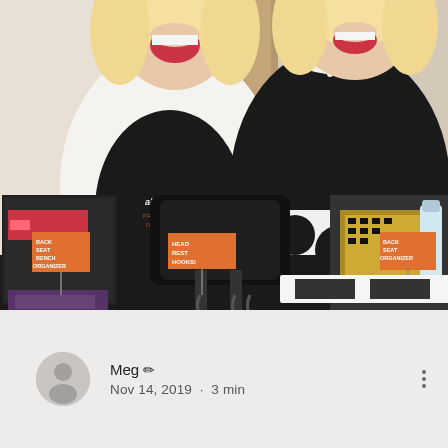[Figure (photo): Two blonde women laughing and gesturing behind a table displaying car organizer products. The left woman wears a white blazer over a black v-neck shirt reading 'about space PROFESSIONAL ORGANIZERS'. The right woman wears a black top with pearl necklace and a black-and-white patterned skirt. The table is covered in a black cloth and displays several items with orange label signs reading 'BACK SEAT BENCH ORGANIZER', 'HEAD REST HOOKS!', and 'BACK SEAT ORGANIZER'. A car seat headrest is visible in the center.]
Meg ✏ Nov 14, 2019 · 3 min